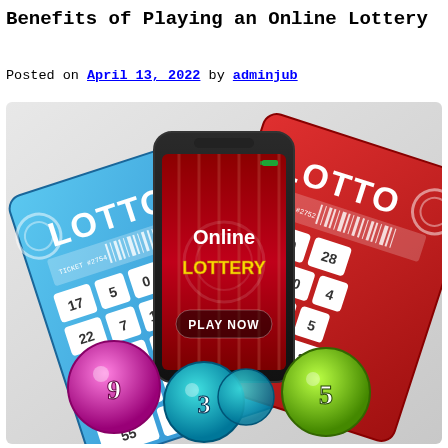Benefits of Playing an Online Lottery
Posted on April 13, 2022 by adminjub
[Figure (illustration): Online lottery promotional illustration showing a smartphone displaying 'Online Lottery - PLAY NOW' screen, flanked by two lotto scratch cards (blue and red) with lottery numbers, and three lottery balls numbered 9, 3, and 5 at the bottom.]